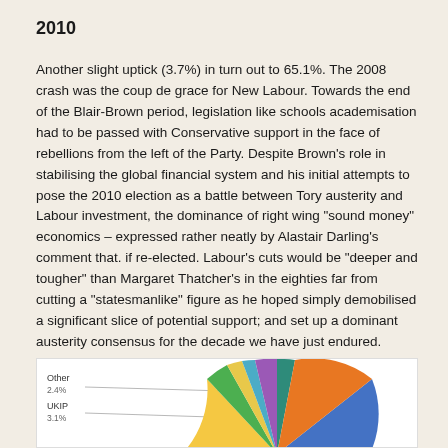2010
Another slight uptick (3.7%) in turn out to 65.1%. The 2008 crash was the coup de grace for New Labour. Towards the end of the Blair-Brown period, legislation like schools academisation had to be passed with Conservative support in the face of rebellions from the left of the Party. Despite Brown’s role in stabilising the global financial system and his initial attempts to pose the 2010 election as a battle between Tory austerity and Labour investment, the dominance of right wing “sound money” economics – expressed rather neatly by Alastair Darling’s comment that. if re-elected. Labour’s cuts would be “deeper and tougher” than Margaret Thatcher’s in the eighties far from cutting a “statesmanlike” figure as he hoped simply demobilised a significant slice of potential support; and set up a dominant austerity consensus for the decade we have just endured.
[Figure (pie-chart): Partial pie chart visible showing Other (2.4%) and UKIP (3.1%) slices labeled on left, with a large blue slice and other colored slices visible]